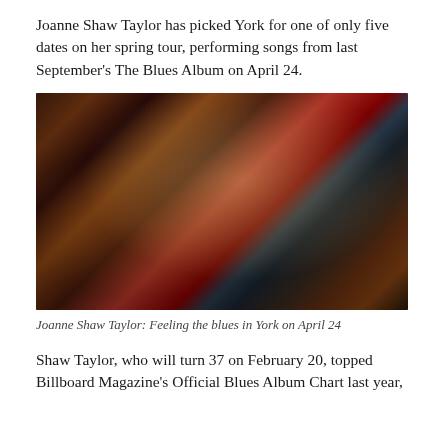Joanne Shaw Taylor has picked York for one of only five dates on her spring tour, performing songs from last September's The Blues Album on April 24.
[Figure (photo): Joanne Shaw Taylor playing electric guitar on stage, wearing a brown velvet blazer, with red and blue stage lighting in the background.]
Joanne Shaw Taylor: Feeling the blues in York on April 24
Shaw Taylor, who will turn 37 on February 20, topped Billboard Magazine's Official Blues Album Chart last year,